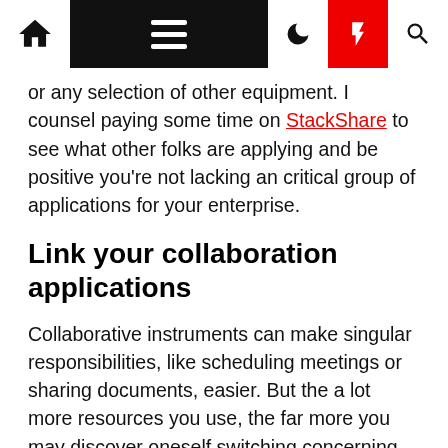Navigation bar with home, menu, dark mode, bolt, and search icons
or any selection of other equipment. I counsel paying some time on StackShare to see what other folks are applying and be positive you're not lacking an critical group of applications for your enterprise.
Link your collaboration applications
Collaborative instruments can make singular responsibilities, like scheduling meetings or sharing documents, easier. But the a lot more resources you use, the far more you may discover oneself switching concerning tabs to comprehensive your work. Connecting your collaborative applications and placing up automations for repetitive duties assures no details falls through the cracks—and allows you use your time on extra human routines